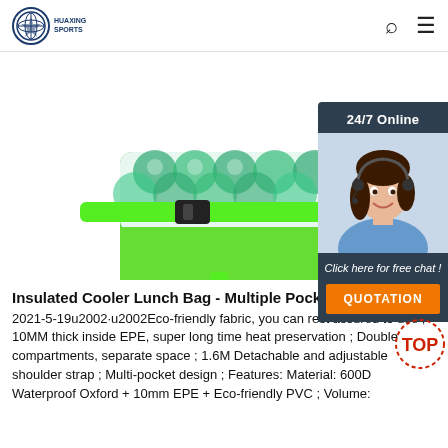[Figure (logo): HUAXING SPORTS logo — circular emblem with globe/star design and brand name below]
[Figure (photo): Insulated cooler lunch bag in green color with mermaid-scale pattern, shown from back with green straps and adjustable buckle]
[Figure (photo): 24/7 Online customer service panel showing a woman with headset, with 'Click here for free chat!' text and orange QUOTATION button]
Insulated Cooler Lunch Bag - Multiple Pockets
2021-5-19u2002·u2002Eco-friendly fabric, you can rest assured to use ; 10MM thick inside EPE, super long time heat preservation ; Double compartments, separate space ; 1.6M Detachable and adjustable shoulder strap ; Multi-pocket design ; Features: Material: 600D Waterproof Oxford + 10mm EPE + Eco-friendly PVC ; Volume: